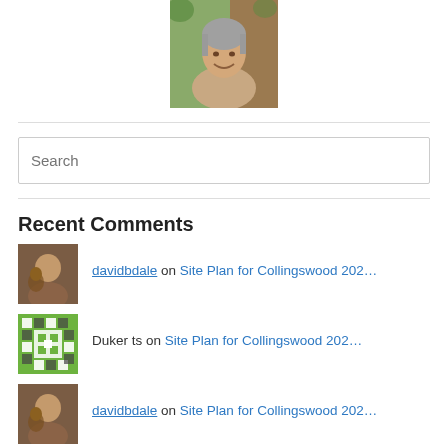[Figure (photo): Profile photo of a woman smiling, with grey hair, sitting outdoors near wood and foliage background.]
Search
Recent Comments
davidbdale on Site Plan for Collingswood 202…
Duker ts on Site Plan for Collingswood 202…
davidbdale on Site Plan for Collingswood 202…
Cindy Irvin on Site Plan for Collingswood 202…